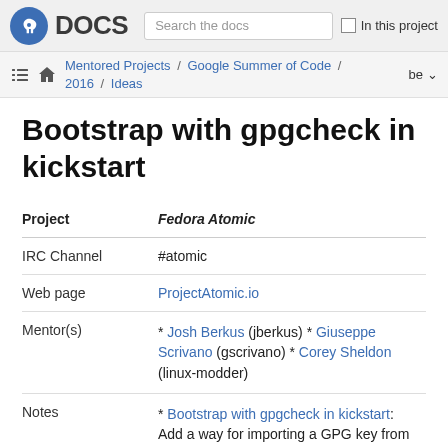Fedora DOCS — Search the docs — In this project
Mentored Projects / Google Summer of Code / 2016 / Ideas — be
Bootstrap with gpgcheck in kickstart
|  |  |
| --- | --- |
| Project | Fedora Atomic |
| IRC Channel | #atomic |
| Web page | ProjectAtomic.io |
| Mentor(s) | * Josh Berkus (jberkus) * Giuseppe Scrivano (gscrivano) * Corey Sheldon (linux-modder) |
| Notes | * Bootstrap with gpgcheck in kickstart: Add a way for importing a GPG key from the kickstart |